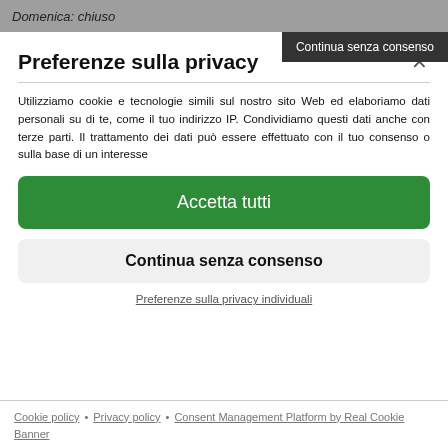Domenica: chiuso
Continua senza consenso
Preferenze sulla privacy
Utilizziamo cookie e tecnologie simili sul nostro sito Web ed elaboriamo dati personali su di te, come il tuo indirizzo IP. Condividiamo questi dati anche con terze parti. Il trattamento dei dati può essere effettuato con il tuo consenso o sulla base di un interesse
Accetta tutti
Continua senza consenso
Preferenze sulla privacy individuali
Cookie policy • Privacy policy • Consent Management Platform by Real Cookie Banner